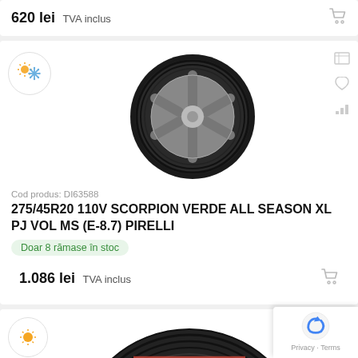620 lei  TVA inclus
[Figure (photo): All-season tire product image — Pirelli Scorpion Verde All Season, side profile view with silver alloy wheel]
Cod produs: DI63588
275/45R20 110V SCORPION VERDE ALL SEASON XL PJ VOL MS (E-8.7) PIRELLI
Doar 8 rămase în stoc
1.086 lei  TVA inclus
[Figure (photo): Summer tire partial image at bottom of page, dark tread pattern visible with colored markings]